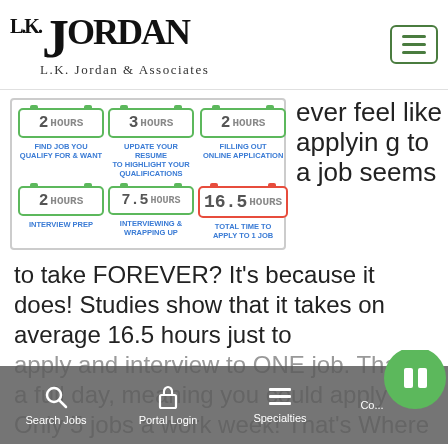[Figure (logo): L.K. Jordan & Associates logo with large stylized J and company name]
[Figure (infographic): Time breakdown infographic showing hours needed to apply for one job: 2 hours find job, 3 hours update resume, 2 hours filling out online application, 2 hours interview prep, 7.5 hours interviewing & wrapping up, 16.5 hours total]
ever feel like applying to a job seems to take FOREVER? It's because it does! Studies show that it takes on average 16.5 hours just to apply and interview to ONE job. That is a full day, meaning you could apply Only 5 jobs a work week! That's Where L.K. Jordan & Assoc
Search Jobs  Portal Login  Specialties  Co...